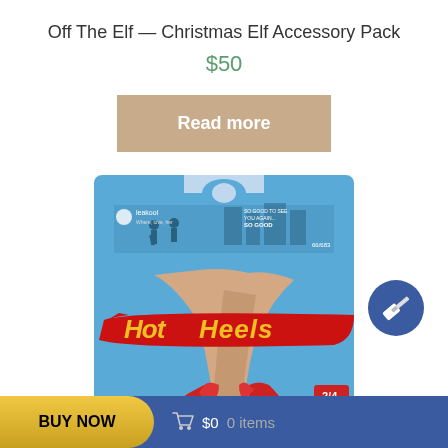Off The Elf — Christmas Elf Accessory Pack
$50
Read more
[Figure (photo): Product photo showing a 'Hot Heels' branded toy package with a blue background, featuring women's legs in red high heels, styled after the Hot Wheels brand logo. The package shows '2/4' in the bottom right corner.]
[Figure (illustration): Blue circular icon with a white gavel/auction hammer symbol]
BUY NOW   🛒 $0   0 items